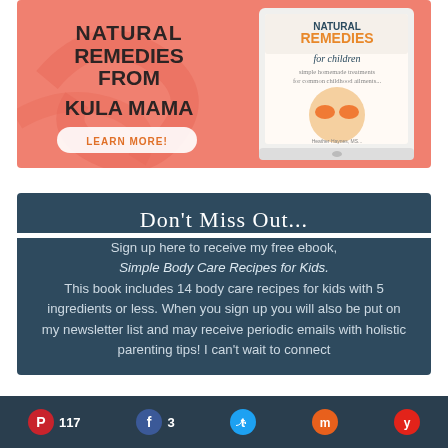[Figure (illustration): Pink promotional banner for 'Natural Remedies from Kula Mama' with a book cover image showing a girl holding oranges over her eyes, and a 'Learn More!' button]
Don't Miss Out...
Sign up here to receive my free ebook, Simple Body Care Recipes for Kids. This book includes 14 body care recipes for kids with 5 ingredients or less. When you sign up you will also be put on my newsletter list and may receive periodic emails with holistic parenting tips! I can't wait to connect
117  3